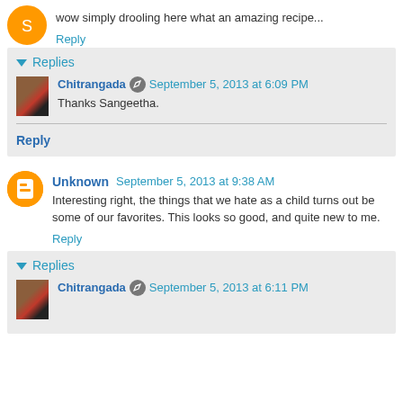wow simply drooling here what an amazing recipe...
Reply
Replies
Chitrangada  September 5, 2013 at 6:09 PM
Thanks Sangeetha.
Reply
Unknown  September 5, 2013 at 9:38 AM
Interesting right, the things that we hate as a child turns out be some of our favorites. This looks so good, and quite new to me.
Reply
Replies
Chitrangada  September 5, 2013 at 6:11 PM